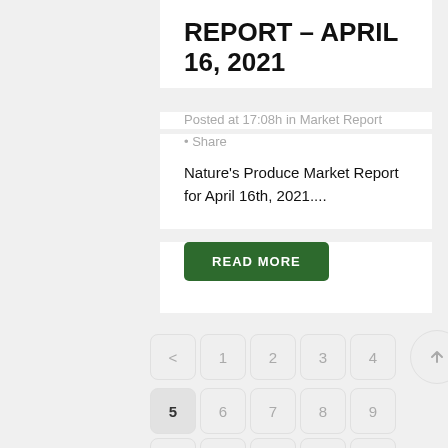REPORT – APRIL 16, 2021
Posted at 17:08h in Market Report
• Share
Nature's Produce Market Report for April 16th, 2021....
READ MORE
< 1 2 3 4   5 6 7 8 9   10 11 12 13 14